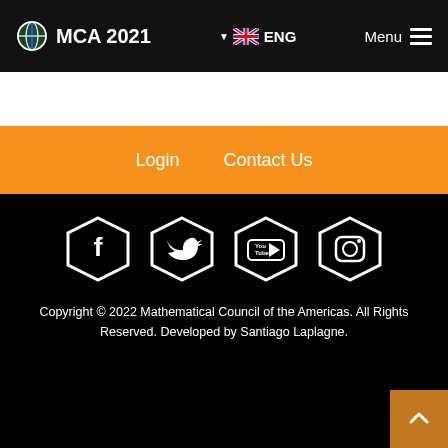MCA 2021   ENG   Menu
Login   Contact Us
[Figure (illustration): Four hexagonal social media icons in white outline on black background: Facebook (f), Twitter (bird), YouTube (You/Tube), Instagram (camera)]
Copyright © 2022 Mathematical Council of the Americas. All Rights Reserved. Developed by Santiago Laplagne.